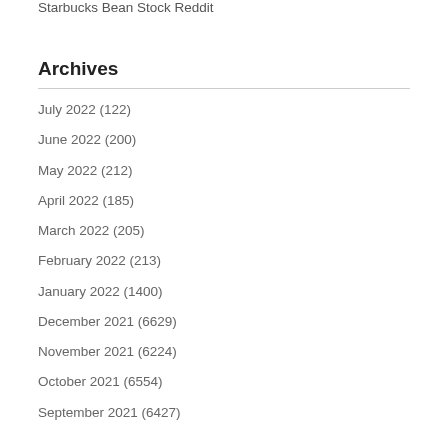Starbucks Bean Stock Reddit
Archives
July 2022 (122)
June 2022 (200)
May 2022 (212)
April 2022 (185)
March 2022 (205)
February 2022 (213)
January 2022 (1400)
December 2021 (6629)
November 2021 (6224)
October 2021 (6554)
September 2021 (6427)